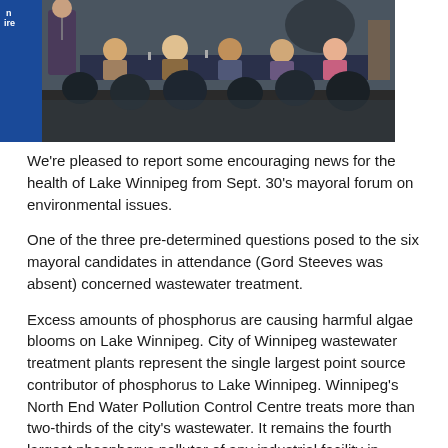[Figure (photo): Photo of a mayoral forum panel event: several candidates seated at a long table in front of an audience, one person standing at left speaking into a microphone, blue banner visible at left edge.]
We're pleased to report some encouraging news for the health of Lake Winnipeg from Sept. 30's mayoral forum on environmental issues.
One of the three pre-determined questions posed to the six mayoral candidates in attendance (Gord Steeves was absent) concerned wastewater treatment.
Excess amounts of phosphorus are causing harmful algae blooms on Lake Winnipeg. City of Winnipeg wastewater treatment plants represent the single largest point source contributor of phosphorus to Lake Winnipeg. Winnipeg's North End Water Pollution Control Centre treats more than two-thirds of the city's wastewater. It remains the fourth largest phosphorus polluter of any industrial facility in Canada.